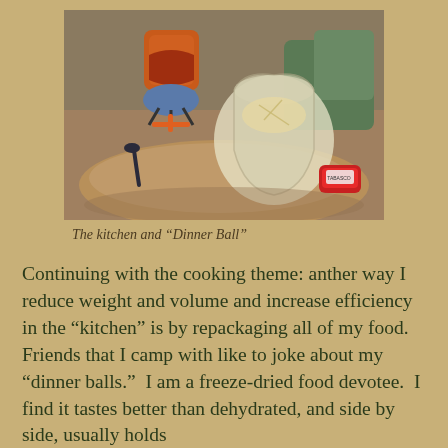[Figure (photo): Outdoor camping kitchen scene showing an orange Jetboil-style camp stove on a rock, a clear plastic bag (the 'Dinner Ball') containing food, a dark spork utensil, and a small Tabasco bottle, with green bags and red/orange rocky terrain in background.]
The kitchen and “Dinner Ball”
Continuing with the cooking theme: anther way I reduce weight and volume and increase efficiency in the “kitchen” is by repackaging all of my food.  Friends that I camp with like to joke about my “dinner balls.”  I am a freeze-dried food devotee.  I find it tastes better than dehydrated, and side by side, usually holds